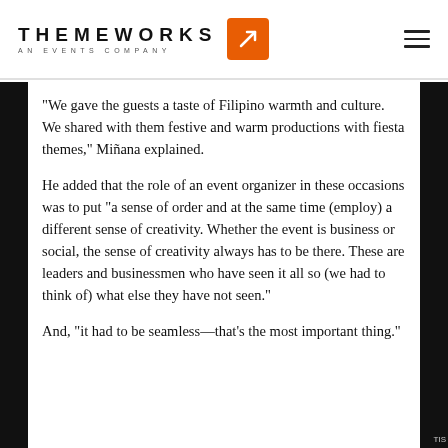THEMEWORKS AN EVENTS COMPANY
“We gave the guests a taste of Filipino warmth and culture. We shared with them festive and warm productions with fiesta themes,” Miñana explained.
He added that the role of an event organizer in these occasions was to put “a sense of order and at the same time (employ) a different sense of creativity. Whether the event is business or social, the sense of creativity always has to be there. These are leaders and businessmen who have seen it all so (we had to think of) what else they have not seen.”
And, “it had to be seamless—that’s the most important thing.”